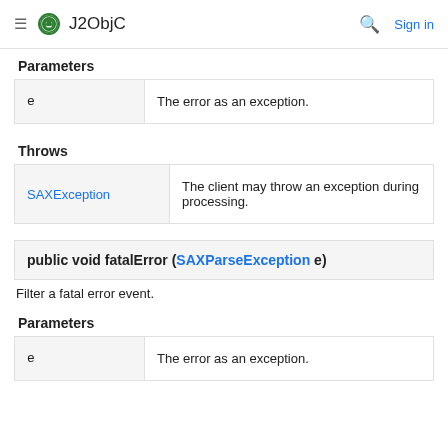J2ObjC  Sign in
Parameters
| e | The error as an exception. |
| --- | --- |
| e | The error as an exception. |
Throws
| SAXException | Description |
| --- | --- |
| SAXException | The client may throw an exception during processing. |
public void fatalError (SAXParseException e)
Filter a fatal error event.
Parameters
| e | The error as an exception. |
| --- | --- |
| e | The error as an exception. |